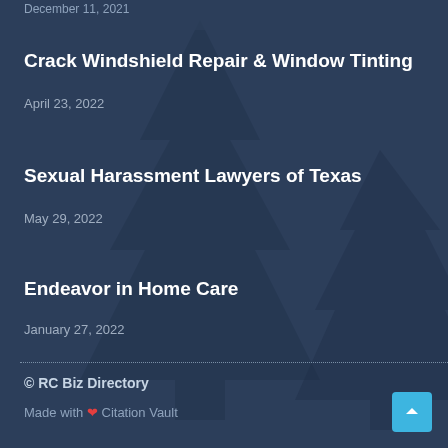December 11, 2021
Crack Windshield Repair & Window Tinting
April 23, 2022
Sexual Harassment Lawyers of Texas
May 29, 2022
Endeavor in Home Care
January 27, 2022
© RC Biz Directory
Made with ❤ Citation Vault